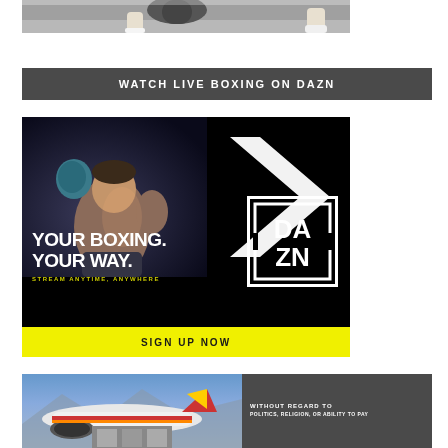[Figure (photo): Top portion of a photo showing legs/feet of a person, cropped at the bottom of a boxing or sports scene]
[Figure (infographic): Dark grey banner with white bold text reading WATCH LIVE BOXING ON DAZN]
[Figure (infographic): DAZN boxing advertisement with black background showing a boxer (Canelo Alvarez) with raised glove, white chevron arrow, text YOUR BOXING. YOUR WAY. STREAM ANYTIME, ANYWHERE, DAZN logo in white box, and yellow SIGN UP NOW bar at bottom]
[Figure (photo): Partial view of an airplane on tarmac with cargo loading, Southwest Airlines colors visible, and dark banner text WITHOUT REGARD TO POLITICS, RELIGION, OR ABILITY TO PAY]